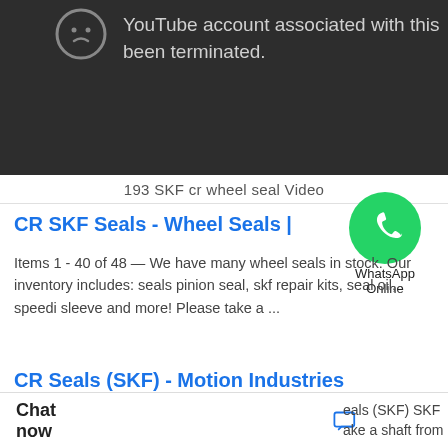[Figure (screenshot): YouTube error screen showing a sad face icon and text: 'YouTube account associated with this has been terminated.']
193 SKF cr wheel seal Video
[Figure (logo): WhatsApp green circle logo with phone handset icon, labeled 'WhatsApp Online']
CR SKF Seals - Wheel Seals |
Items 1 - 40 of 48 — We have many wheel seals in stock. Our inventory includes: seals pinion seal, skf repair kits, seal oil, speedi sleeve and more! Please take a ...
CR Seals (SKF) - Motion Industries
eals (SKF) SKF ake a shaft from
Chat now